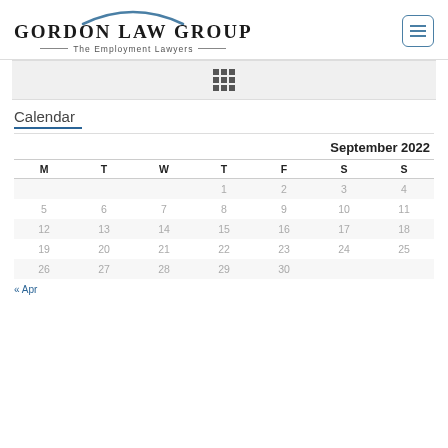Gordon Law Group — The Employment Lawyers
[Figure (other): Grid/menu icon in gray navigation bar]
Calendar
| M | T | W | T | F | S | S |
| --- | --- | --- | --- | --- | --- | --- |
|  |  |  | 1 | 2 | 3 | 4 |
| 5 | 6 | 7 | 8 | 9 | 10 | 11 |
| 12 | 13 | 14 | 15 | 16 | 17 | 18 |
| 19 | 20 | 21 | 22 | 23 | 24 | 25 |
| 26 | 27 | 28 | 29 | 30 |  |  |
« Apr